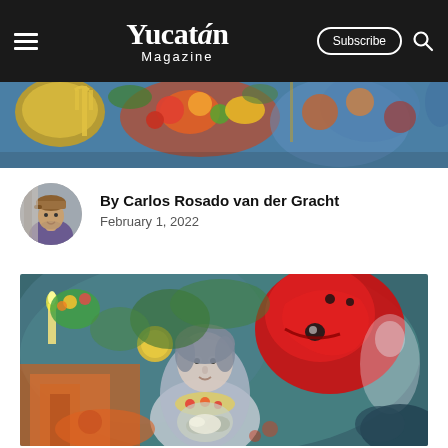Yucatán Magazine — navigation bar with hamburger menu, logo, Subscribe button, and search icon
[Figure (photo): Colorful banner strip showing a detail of a vibrant, multi-colored painting with fruits, figures and decorative elements]
[Figure (photo): Circular author avatar photo showing Carlos Rosado van der Gracht, a man wearing a cap]
By Carlos Rosado van der Gracht
February 1, 2022
[Figure (photo): Large artwork image showing a colorful painting featuring a central female figure with a serene face, surrounded by fantastical elements including a large red creature/bird, flowers, a candle, and various surrealistic motifs in vivid blues, greens, oranges and reds]